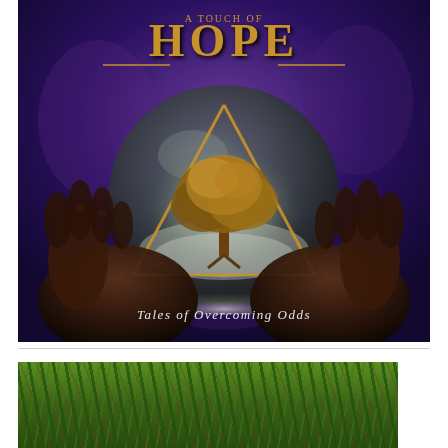[Figure (illustration): Book cover image with dark purple background showing two dark hands holding a crystal ball with a glowing tree inside a golden triangle, with the word HOPE in large golden distressed letters at the top and subtitle 'Tales of Overcoming Odds' in white italic text at the bottom.]
Tales of Overcoming Odds
[Figure (photo): Partial photograph of grass or ground cover vegetation, showing green blades of grass with some reddish-brown stems or roots, taken from close up ground level.]